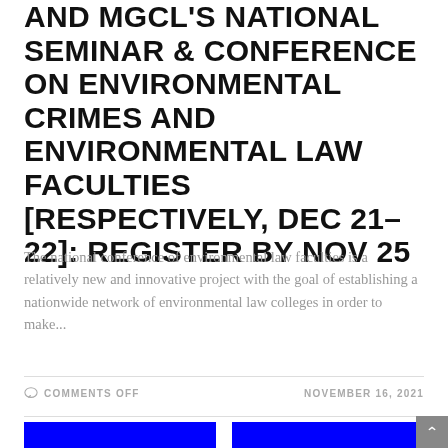AND MGCL'S NATIONAL SEMINAR & CONFERENCE ON ENVIRONMENTAL CRIMES AND ENVIRONMENTAL LAW FACULTIES [RESPECTIVELY, DEC 21–22]: REGISTER BY NOV 25
The national conference of environmental law faculties is a relatively new and innovative project with the goal of establishing a nationwide network of environmental law colleges in order to make...
COMMENTS OFF
NOVEMBER 16, 2021
[Figure (other): Two blue rectangular image thumbnails at the bottom of the page, partially visible]